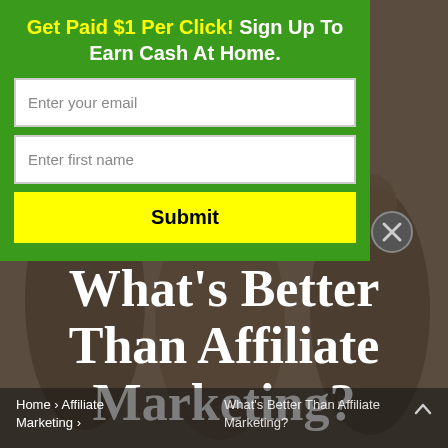[Figure (photo): Background photo of people in business attire holding phones and tablets, overlaid with dark brownish tint]
Get Paid $1 Per Click! Sign Up To Earn Cash At Home.
Enter your email
Enter first name
Submit
What's Better Than Affiliate Marketing?
Home › Affiliate Marketing › What's Better Than Affiliate Marketing?